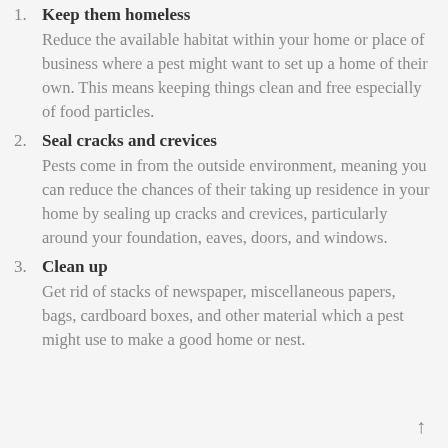Keep them homeless
Reduce the available habitat within your home or place of business where a pest might want to set up a home of their own. This means keeping things clean and free especially of food particles.
Seal cracks and crevices
Pests come in from the outside environment, meaning you can reduce the chances of their taking up residence in your home by sealing up cracks and crevices, particularly around your foundation, eaves, doors, and windows.
Clean up
Get rid of stacks of newspaper, miscellaneous papers, bags, cardboard boxes, and other material which a pest might use to make a good home or nest.